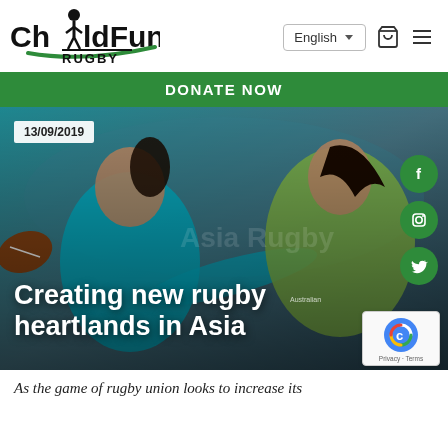[Figure (logo): ChildFund Rugby logo with stylized person figure and green swoosh]
[Figure (screenshot): Navigation bar with English language selector, basket icon, and menu icon]
DONATE NOW
[Figure (photo): Two female rugby players in action, one in cyan shirt reaching toward a player in neon green shirt, dated 13/09/2019]
Creating new rugby heartlands in Asia
As the game of rugby union looks to increase its